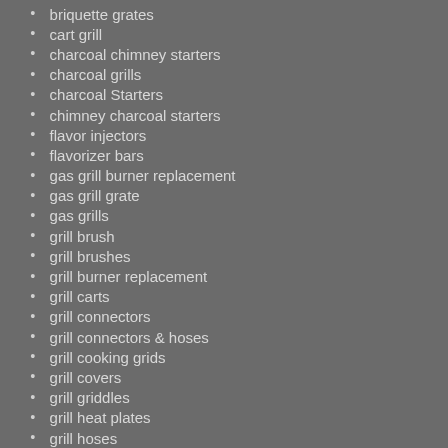briquette grates
cart grill
charcoal chimney starters
charcoal grills
charcoal Starters
chimney charcoal starters
flavor injectors
flavorizer bars
gas grill burner replacement
gas grill grate
gas grills
grill brush
grill brushes
grill burner replacement
grill carts
grill connectors
grill connectors & hoses
grill cooking grids
grill covers
grill griddles
grill heat plates
grill hoses
grill knobs